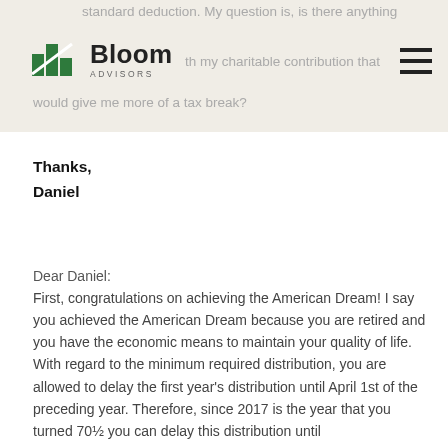standard deduction. My question is, is there anything [with my charitable contribution that would give me more of a tax break?
[Figure (logo): Bloom Advisors logo with green bar chart icon and company name]
Thanks,
Daniel
Dear Daniel:
First, congratulations on achieving the American Dream! I say you achieved the American Dream because you are retired and you have the economic means to maintain your quality of life. With regard to the minimum required distribution, you are allowed to delay the first year's distribution until April 1st of the preceding year. Therefore, since 2017 is the year that you turned 70½ you can delay this distribution until April 1, 2018. However, there is an issue that...